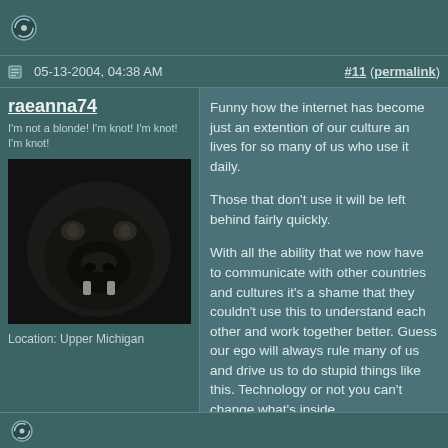05-13-2004, 04:38 AM    #11 (permalink)
raeanna74
I'm not a blonde! I'm knot! I'm knot! I'm knot!
Location: Upper Michigan
Funny how the internet has become just an extention of our culture an lives for so many of us who use it daily.

Those that don't use it will be left behind fairly quickly.

With all the ability that we now have to communicate with other countries and cultures it's a shame that they couldn't use this to understand each other and work together better. Guess our ego will always rule many of us and drive us to do stupid things like this. Technology or not you can't change what's inside.

"Always learn the rules so that you can break them properly." Dalai Lama
My Karma just ran over your Dogma.